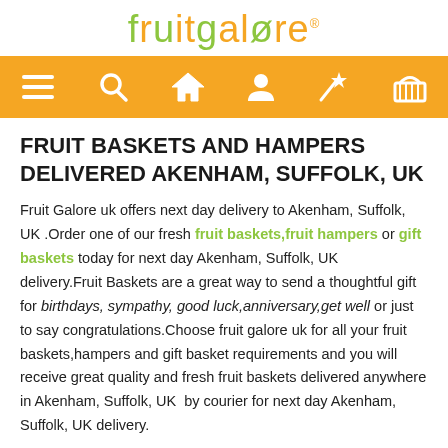fruitgalore
[Figure (other): Orange navigation bar with icons: hamburger menu, search, home, user, magic wand/star, shopping basket]
FRUIT BASKETS AND HAMPERS DELIVERED AKENHAM, SUFFOLK, UK
Fruit Galore uk offers next day delivery to Akenham, Suffolk, UK .Order one of our fresh fruit baskets,fruit hampers or gift baskets today for next day Akenham, Suffolk, UK  delivery.Fruit Baskets are a great way to send a thoughtful gift for birthdays, sympathy, good luck,anniversary,get well or just to say congratulations.Choose fruit galore uk for all your fruit baskets,hampers and gift basket requirements and you will receive great quality and fresh fruit baskets delivered anywhere in Akenham, Suffolk, UK  by courier for next day Akenham, Suffolk, UK delivery.
HELIUM FOIL BALLOONS